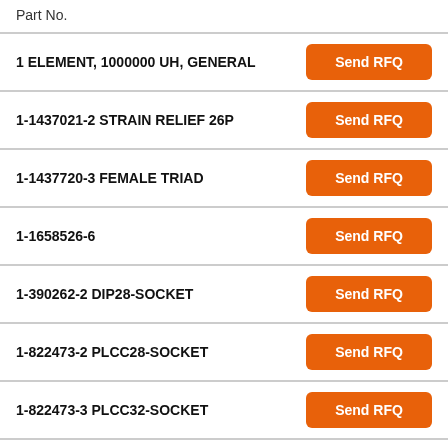| Part No. |  |
| --- | --- |
| 1 ELEMENT, 1000000 UH, GENERAL | Send RFQ |
| 1-1437021-2 STRAIN RELIEF 26P | Send RFQ |
| 1-1437720-3 FEMALE TRIAD | Send RFQ |
| 1-1658526-6 | Send RFQ |
| 1-390262-2 DIP28-SOCKET | Send RFQ |
| 1-822473-2 PLCC28-SOCKET | Send RFQ |
| 1-822473-3 PLCC32-SOCKET | Send RFQ |
| 1-822473-4 PLCC44-SOCKET | Send RFQ |
| 1-822473-6 PLCC68-SOCKET | Send RFQ |